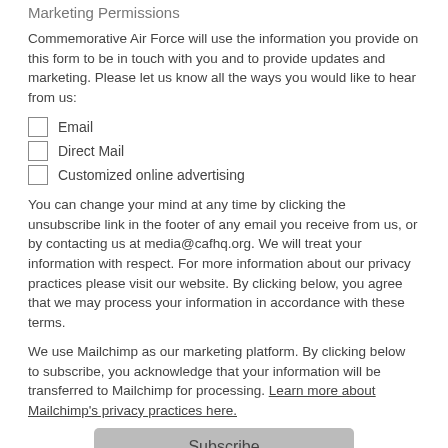Marketing Permissions
Commemorative Air Force will use the information you provide on this form to be in touch with you and to provide updates and marketing. Please let us know all the ways you would like to hear from us:
Email
Direct Mail
Customized online advertising
You can change your mind at any time by clicking the unsubscribe link in the footer of any email you receive from us, or by contacting us at media@cafhq.org. We will treat your information with respect. For more information about our privacy practices please visit our website. By clicking below, you agree that we may process your information in accordance with these terms.
We use Mailchimp as our marketing platform. By clicking below to subscribe, you acknowledge that your information will be transferred to Mailchimp for processing. Learn more about Mailchimp's privacy practices here.
Subscribe
<!--End mc_embed_signup-->